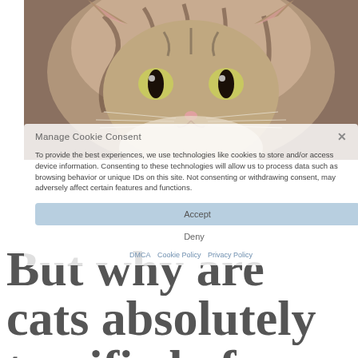[Figure (photo): Close-up photo of a tabby cat with large eyes staring forward, brown/grey striped fur, against a blurred background]
Manage Cookie Consent ×
To provide the best experiences, we use technologies like cookies to store and/or access device information. Consenting to these technologies will allow us to process data such as browsing behavior or unique IDs on this site. Not consenting or withdrawing consent, may adversely affect certain features and functions.
Accept
Deny
DMCA   Cookie Policy   Privacy Policy
But why are cats absolutely terrified of cucumbers? You